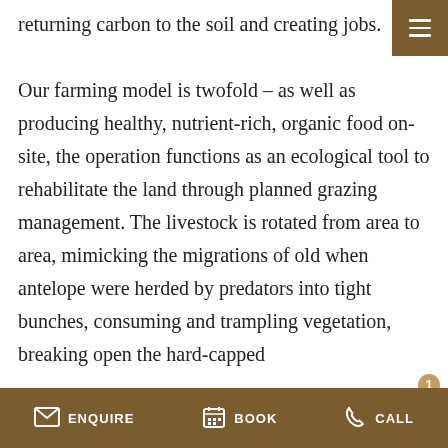returning carbon to the soil and creating jobs.
Our farming model is twofold – as well as producing healthy, nutrient-rich, organic food on-site, the operation functions as an ecological tool to rehabilitate the land through planned grazing management. The livestock is rotated from area to area, mimicking the migrations of old when antelope were herded by predators into tight bunches, consuming and trampling vegetation, breaking open the hard-capped
ENQUIRE   BOOK   CALL